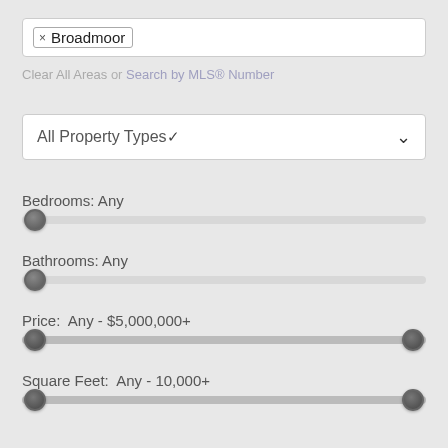× Broadmoor
Clear All Areas or Search by MLS® Number
All Property Types
Bedrooms: Any
Bathrooms: Any
Price:  Any - $5,000,000+
Square Feet:  Any - 10,000+